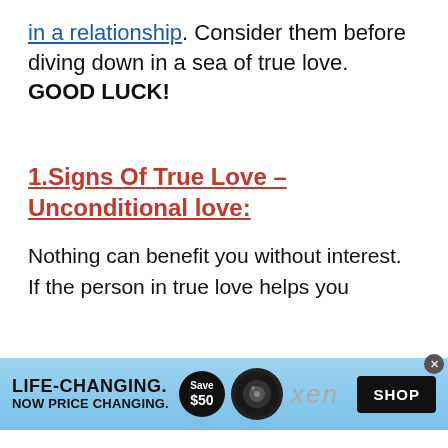in a relationship. Consider them before diving down in a sea of true love. GOOD LUCK!
1.Signs Of True Love – Unconditional love:
Nothing can benefit you without interest. If the person in true love helps you
[Figure (screenshot): Advertisement banner: LIFE-CHANGING. NOW PRICE CHANGING. Save $50. xen. SHOP button.]